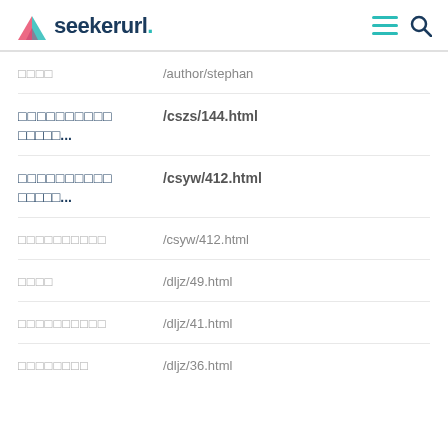seekerurl.
| Label | URL |
| --- | --- |
| □□□□ | /author/stephan |
| □□□□□□□□□□ □□□□□... | /cszs/144.html |
| □□□□□□□□□□ □□□□□... | /csyw/412.html |
| □□□□□□□□□□ | /csyw/412.html |
| □□□□ | /dljz/49.html |
| □□□□□□□□□□ | /dljz/41.html |
| □□□□□□□□ | /dljz/36.html |